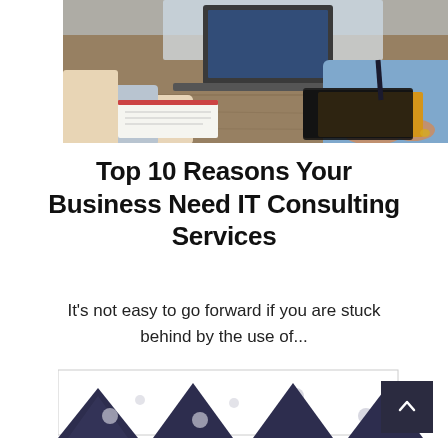[Figure (photo): Two people at a meeting table with a laptop, documents, and folders. One person holds a pen over a clipboard, the other has hands clasped over a leather folder.]
Top 10 Reasons Your Business Need IT Consulting Services
It's not easy to go forward if you are stuck behind by the use of...
[Figure (illustration): Decorative bottom graphic with dark navy triangle/envelope shapes and circular dot patterns on a white/light background.]